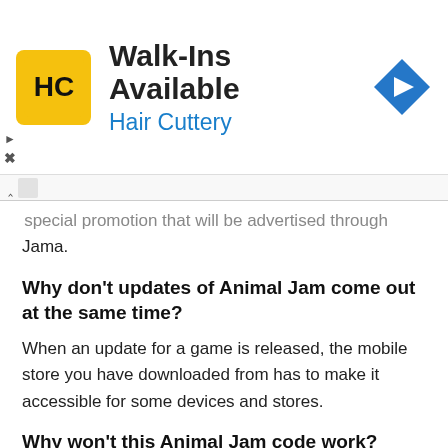[Figure (other): Hair Cuttery advertisement banner with HC logo, 'Walk-Ins Available' headline, 'Hair Cuttery' subtitle in blue, and a blue diamond navigation arrow icon. Play and close (X) icons on the left side.]
...special promotion that will be advertised through Jama.
Why don't updates of Animal Jam come out at the same time?
When an update for a game is released, the mobile store you have downloaded from has to make it accessible for some devices and stores.
Why won't this Animal Jam code work?
Sometimes, AJHQ will release a code that can get access when Jammers log in. These codes can give Gems, items, and other fabulous prizes. Though most of